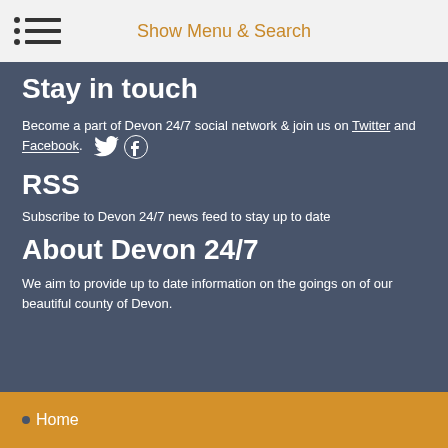Show Menu & Search
Stay in touch
Become a part of Devon 24/7 social network & join us on Twitter and Facebook.
RSS
Subscribe to Devon 24/7 news feed to stay up to date
About Devon 24/7
We aim to provide up to date information on the goings on of our beautiful county of Devon.
Home